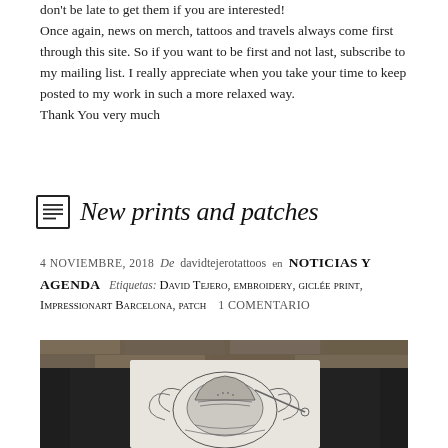don't be late to get them if you are interested!
Once again, news on merch, tattoos and travels always come first through this site. So if you want to be first and not last, subscribe to my mailing list. I really appreciate when you take your time to keep posted to my work in such a more relaxed way.
Thank You very much
New prints and patches
4 NOVIEMBRE, 2018  De  davidtejerotattoos  en NOTICIAS Y AGENDA  Etiquetas: David Tejero, embroidery, giclée print, Impressionart Barcelona, patch  1 comentario
[Figure (photo): Photo of a dark t-shirt being held up, with a white printed design showing an ornate helmet with decorative scrollwork, against a stone wall background.]